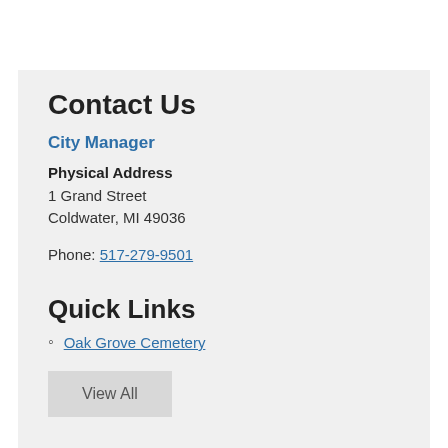Contact Us
City Manager
Physical Address
1 Grand Street
Coldwater, MI 49036
Phone: 517-279-9501
Quick Links
Oak Grove Cemetery
View All